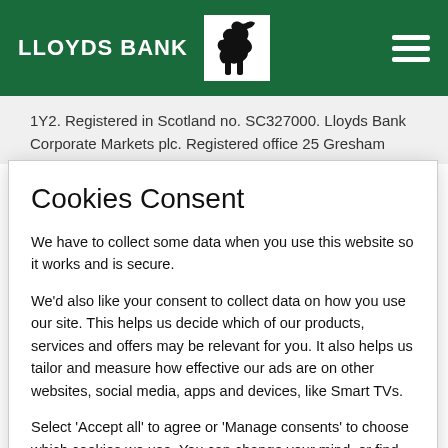LLOYDS BANK
1Y2. Registered in Scotland no. SC327000. Lloyds Bank Corporate Markets plc. Registered office 25 Gresham Street, London EC2V 7LN. Registered in England and Wales no.
Cookies Consent
We have to collect some data when you use this website so it works and is secure.
We'd also like your consent to collect data on how you use our site. This helps us decide which of our products, services and offers may be relevant for you. It also helps us tailor and measure how effective our ads are on other websites, social media, apps and devices, like Smart TVs.
Select 'Accept all' to agree or 'Manage consents' to choose which cookies we use. You can change your mind, or find out more, by visiting our Cookies Policy
Accept all
Manage consents